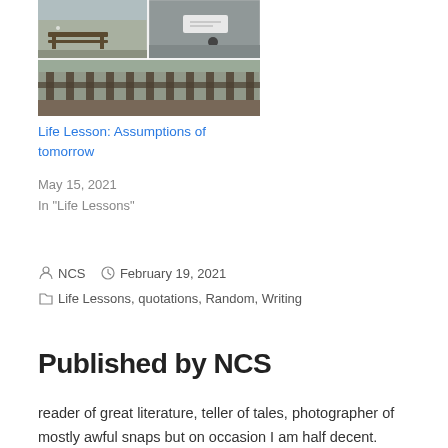[Figure (photo): Collage of four outdoor photos showing a wooden bench and wooden fence/barrier structures in a rural or coastal setting]
Life Lesson: Assumptions of tomorrow
May 15, 2021
In "Life Lessons"
NCS   February 19, 2021
Life Lessons, quotations, Random, Writing
Published by NCS
reader of great literature, teller of tales, photographer of mostly awful snaps but on occasion I am half decent.